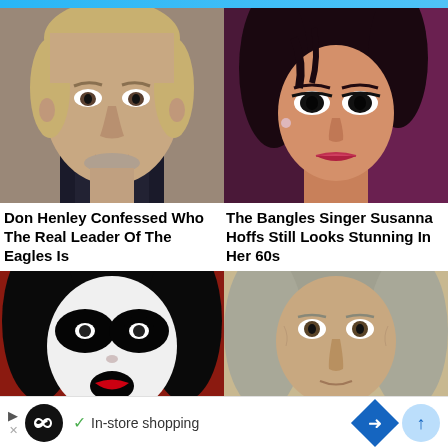[Figure (photo): Close-up photo of Don Henley, older male with short grey-blond hair, serious expression, wearing dark jacket]
[Figure (photo): Close-up photo of Susanna Hoffs from The Bangles, dark hair, dramatic makeup, pink/purple stage lighting]
Don Henley Confessed Who The Real Leader Of The Eagles Is
The Bangles Singer Susanna Hoffs Still Looks Stunning In Her 60s
[Figure (photo): Partial photo of KISS band member with face paint on red background]
[Figure (photo): Partial photo of older male with long grey hair]
In-store shopping